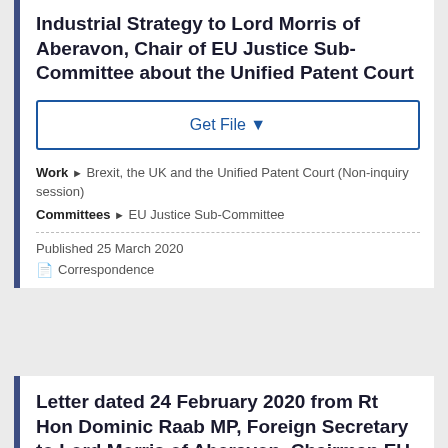Industrial Strategy to Lord Morris of Aberavon, Chair of EU Justice Sub-Committee about the Unified Patent Court
Get File ▼
Work ▶ Brexit, the UK and the Unified Patent Court (Non-inquiry session)
Committees ▶ EU Justice Sub-Committee
Published 25 March 2020
Correspondence
Letter dated 24 February 2020 from Rt Hon Dominic Raab MP, Foreign Secretary to Lord Morris of Aberavon, Chairman EU Justice Sub-Committee about UK nationals living in the EU